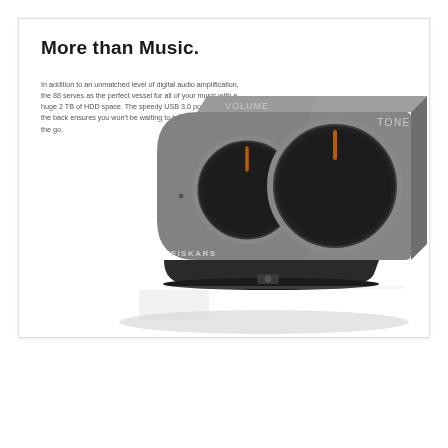More than Music.
In addition to an unmatched level of digital audio amplification, the 88 serves as the perfect vessel for all of your music with a huge 2 TB of HDD space. The speedy USB 3.0 port located on the back ensures you won't be waiting to take your music on the go.
[Figure (photo): Product photo of a Fiskars audio amplifier device with two large circular control knobs labeled VOLUME and TONE. The unit has a grey metallic body with a curved front and sits on a black stand. Orange indicator lines are visible on both knobs.]